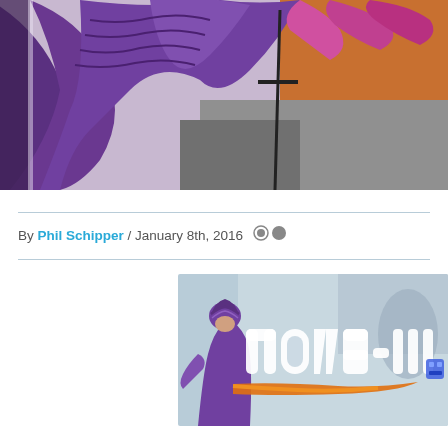[Figure (illustration): Top banner image showing a stylized illustrated character in purple robes/cape against an orange and grey background, appears to be game artwork]
By Phil Schipper / January 8th, 2016
[Figure (illustration): Nova-111 game logo/cover art showing a purple turbaned character on the left and large stylized text 'nova-111' with an orange rocket/beam on a light blue background]